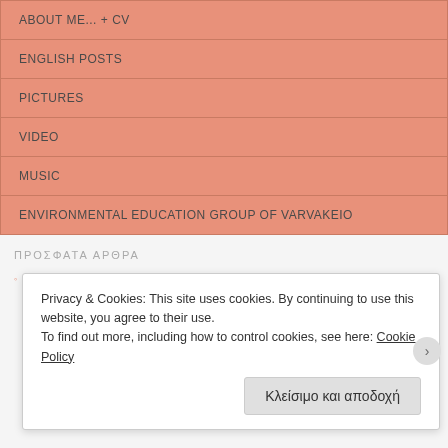ABOUT ME... + CV
ENGLISH POSTS
PICTURES
VIDEO
MUSIC
ENVIRONMENTAL EDUCATION GROUP OF VARVAKEIO
ΠΡΟΣΦΑΤΑ ΑΡΘΡΑ
What matters most to you when it comes to educational tools?
Privacy & Cookies: This site uses cookies. By continuing to use this website, you agree to their use.
To find out more, including how to control cookies, see here: Cookie Policy
Κλείσιμο και αποδοχή